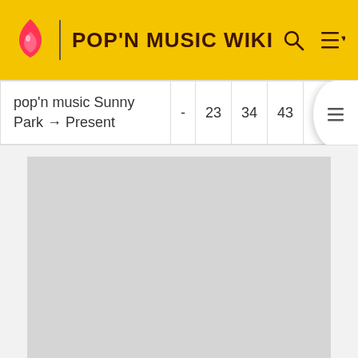POP'N MUSIC WIKI
| pop'n music Sunny Park → Present | - | 23 | 34 | 43 | 15 | - |
[Figure (other): Gray advertisement placeholder box]
ADVERTISEMENT
Gallery